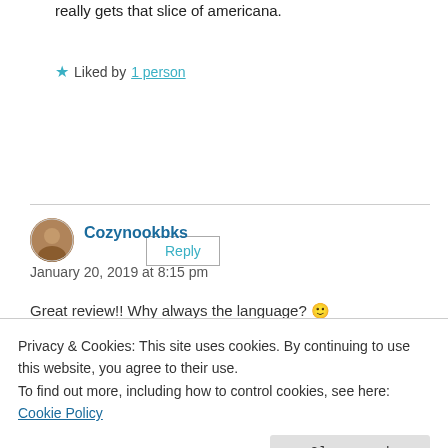really gets that slice of americana.
★ Liked by 1 person
Reply
Cozynookbks
January 20, 2019 at 8:15 pm
Great review!! Why always the language? 🙂
Privacy & Cookies: This site uses cookies. By continuing to use this website, you agree to their use.
To find out more, including how to control cookies, see here: Cookie Policy
Close and accept